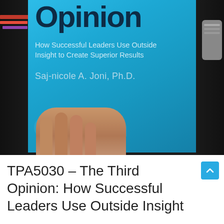[Figure (photo): A hand holding a book with a bright blue cover. The book cover displays the title 'Opinion' in large dark navy text, subtitle 'How Successful Leaders Use Outside Insight to Create Superior Results', and author name 'Saj-nicole A. Joni, Ph.D.' The background shows a desk environment with a keyboard and remote control visible.]
TPA5030 – The Third Opinion: How Successful Leaders Use Outside Insight